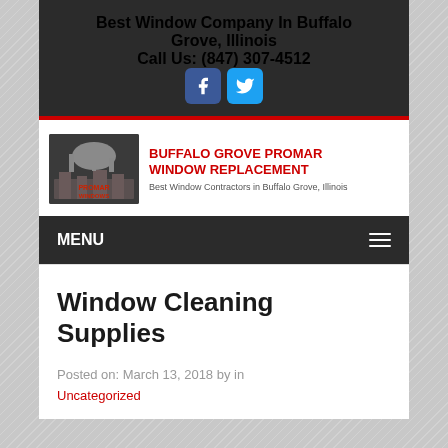Best Window Company In Buffalo Grove, Illinois
Call Us: (847) 307-4512
[Figure (logo): Promar Windows logo on dark background with stylized building/factory silhouette]
BUFFALO GROVE PROMAR WINDOW REPLACEMENT
Best Window Contractors in Buffalo Grove, Illinois
MENU
Window Cleaning Supplies
Posted on: March 13, 2018 by in
Uncategorized